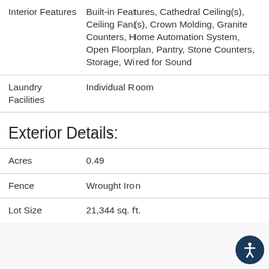| Feature | Value |
| --- | --- |
| Interior Features | Built-in Features, Cathedral Ceiling(s), Ceiling Fan(s), Crown Molding, Granite Counters, Home Automation System, Open Floorplan, Pantry, Stone Counters, Storage, Wired for Sound |
| Laundry Facilities | Individual Room |
Exterior Details:
| Feature | Value |
| --- | --- |
| Acres | 0.49 |
| Fence | Wrought Iron |
| Lot Size | 21,344 sq. ft. |